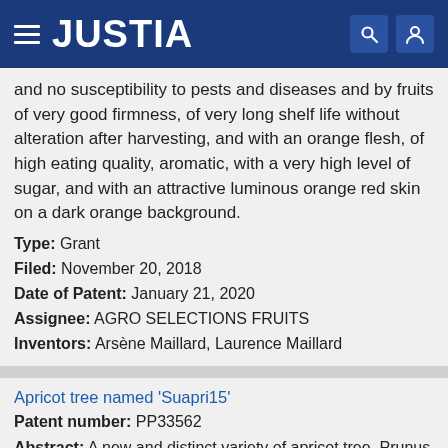JUSTIA
and no susceptibility to pests and diseases and by fruits of very good firmness, of very long shelf life without alteration after harvesting, and with an orange flesh, of high eating quality, aromatic, with a very high level of sugar, and with an attractive luminous orange red skin on a dark orange background.
Type: Grant
Filed: November 20, 2018
Date of Patent: January 21, 2020
Assignee: AGRO SELECTIONS FRUITS
Inventors: Arsène Maillard, Laurence Maillard
Apricot tree named 'Suapri15'
Patent number: PP33562
Abstract: A new and distinct variety of apricot tree, Prunus armeniaca 'Suapri15', is characterized by having